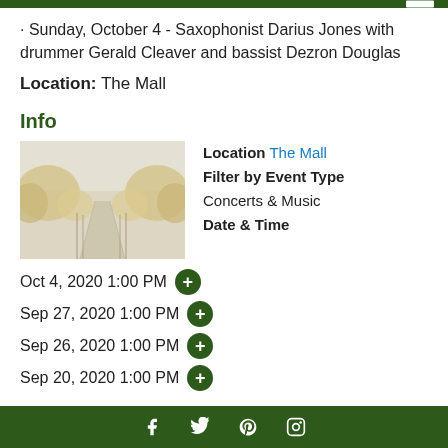· Sunday, October 4 - Saxophonist Darius Jones with drummer Gerald Cleaver and bassist Dezron Douglas
Location: The Mall
Info
[Figure (photo): Tree-lined mall path in autumn with yellow foliage, foggy/misty background]
Location The Mall
Filter by Event Type
Concerts & Music
Date & Time
Oct 4, 2020 1:00 PM +
Sep 27, 2020 1:00 PM +
Sep 26, 2020 1:00 PM +
Sep 20, 2020 1:00 PM +
f  t  p  o (social media icons)